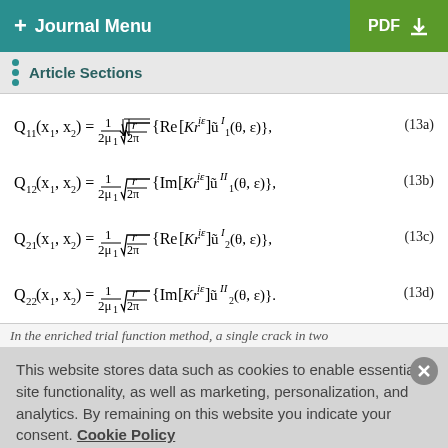+ Journal Menu   PDF ↓
Article Sections
In the enriched trial function method, a single crack in two
This website stores data such as cookies to enable essential site functionality, as well as marketing, personalization, and analytics. By remaining on this website you indicate your consent. Cookie Policy